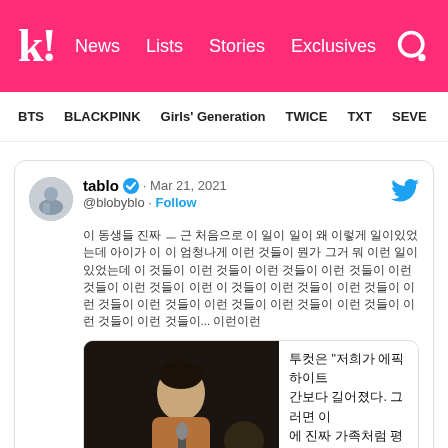k! News Lists Stories Exclusives
BTS BLACKPINK Girls' Generation TWICE TXT SEVE
[Figure (screenshot): Tweet from tablo (@blobyblo) dated Mar 21, 2021 with Korean text and an embedded media card showing a man holding a microphone with Korean text overlay]
tablo ✓ · Mar 21, 2021 @blobyblo · Follow
Korean tweet text and embedded video card with Korean text about Epic High album